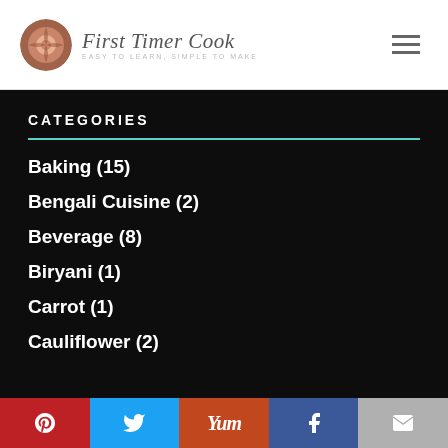First Timer Cook
CATEGORIES
Baking (15)
Bengali Cuisine (2)
Beverage (8)
Biryani (1)
Carrot (1)
Cauliflower (2)
Pinterest Twitter Yum Facebook Email